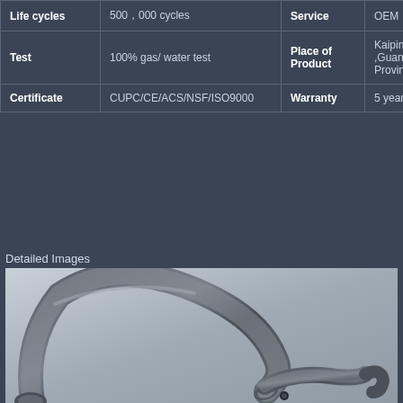| Life cycles | 500,000 cycles | Service | OEM |
| --- | --- | --- | --- |
| Test | 100% gas/ water test | Place of Product | Kaiping city ,Guangdong Province |
| Certificate | CUPC/CE/ACS/NSF/ISO9000 | Warranty | 5 years |
Detailed Images
[Figure (photo): Close-up photo of a gunmetal/brushed nickel kitchen faucet with a curved swan-neck spout and lever handle, shown on a light gray background.]